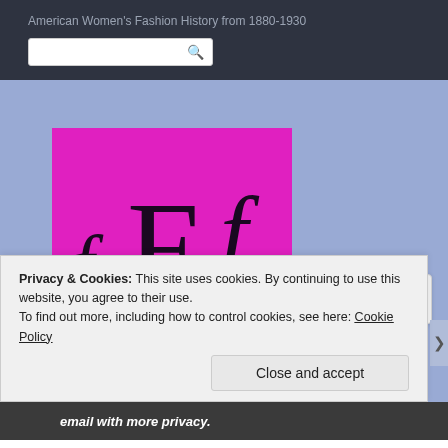American Women's Fashion History from 1880-1930
[Figure (logo): Magenta/pink square logo with stylized 'fFf' letters in black serif font on bright pink background, representing a fashion history website]
≡ Menu
Privacy & Cookies: This site uses cookies. By continuing to use this website, you agree to their use. To find out more, including how to control cookies, see here: Cookie Policy
Close and accept
email with more privacy.